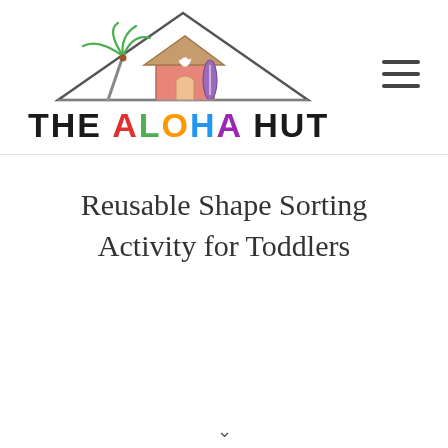[Figure (logo): The Aloha Hut logo: illustration of a palm tree and a pink hut with a heart under a triangle, with the text THE ALOHA HUT below in bold, ALOHA in multicolored letters]
Reusable Shape Sorting Activity for Toddlers